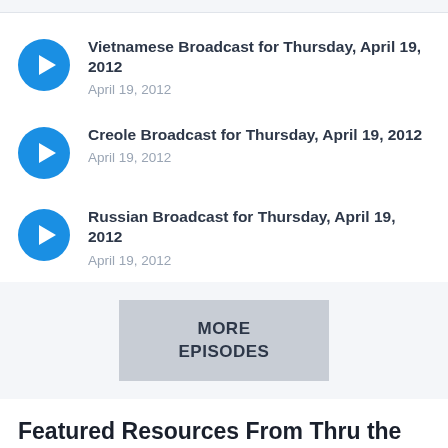Vietnamese Broadcast for Thursday, April 19, 2012
April 19, 2012
Creole Broadcast for Thursday, April 19, 2012
April 19, 2012
Russian Broadcast for Thursday, April 19, 2012
April 19, 2012
MORE EPISODES
Featured Resources From Thru the Bible International